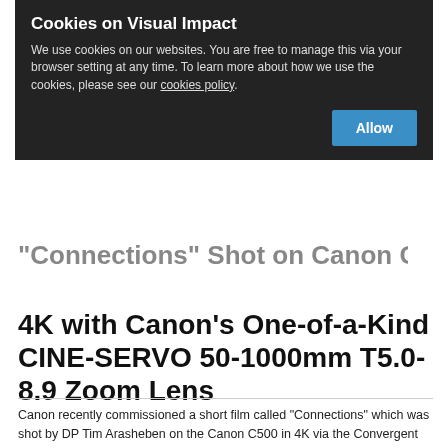4K with Canon's One-of-a-Kind CINE-SERVO 50-1000mm T5.0-8.9 Zoom Lens
Canon recently commissioned a short film called "Connections" which was shot by DP Tim Arasheben on the Canon C500 in 4K via the Convergent Design Odyssey7Q+, rigging from Hollywood based Cinoflex, and shot on only one lens - the mighty Canon 50-1000mm T5.0-8.9 Cine Servo Zoom Lens.
Recently, ProductioHub sat down with Arasheben and discussed what it's like to shot with Canon's 50-1000mm lens on set on the short film, "Connections."
Learn the pros and cons of the lens, along with info about the short